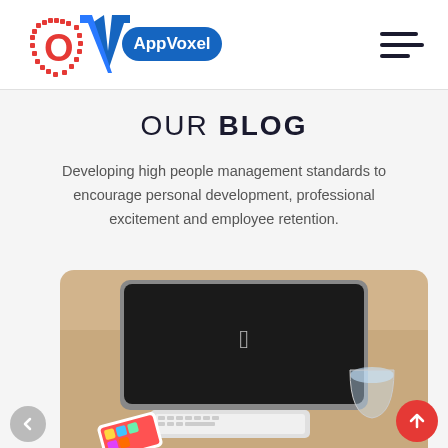[Figure (logo): AppVoxel logo with red circular icon and blue diagonal shape with AppVoxel text in a blue pill badge]
OUR BLOG
Developing high people management standards to encourage personal development, professional excitement and employee retention.
[Figure (photo): iMac computer on a wooden desk with a keyboard, a glass of water, and a smartphone showing a colorful app grid]